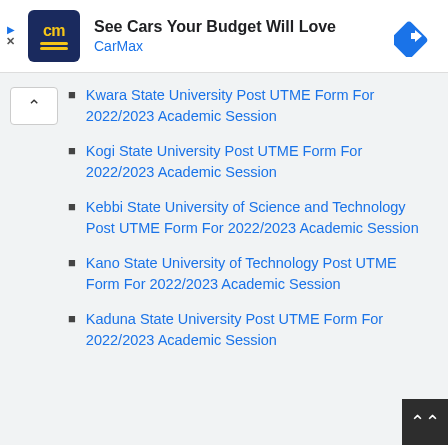[Figure (infographic): CarMax advertisement banner with logo (dark blue square with 'cm' in yellow), bold text 'See Cars Your Budget Will Love', subtitle 'CarMax' in blue, and a blue diamond-shaped navigation arrow icon on the right.]
Kwara State University Post UTME Form For 2022/2023 Academic Session
Kogi State University Post UTME Form For 2022/2023 Academic Session
Kebbi State University of Science and Technology Post UTME Form For 2022/2023 Academic Session
Kano State University of Technology Post UTME Form For 2022/2023 Academic Session
Kaduna State University Post UTME Form For 2022/2023 Academic Session